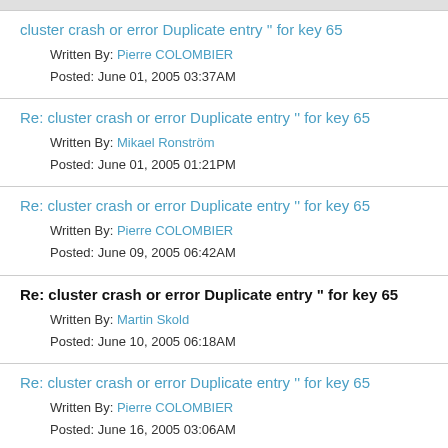cluster crash or error Duplicate entry '' for key 65
Written By: Pierre COLOMBIER
Posted: June 01, 2005 03:37AM
Re: cluster crash or error Duplicate entry '' for key 65
Written By: Mikael Ronström
Posted: June 01, 2005 01:21PM
Re: cluster crash or error Duplicate entry '' for key 65
Written By: Pierre COLOMBIER
Posted: June 09, 2005 06:42AM
Re: cluster crash or error Duplicate entry " for key 65
Written By: Martin Skold
Posted: June 10, 2005 06:18AM
Re: cluster crash or error Duplicate entry '' for key 65
Written By: Pierre COLOMBIER
Posted: June 16, 2005 03:06AM
Re: cluster crash or error Duplicate entry '' for key 65